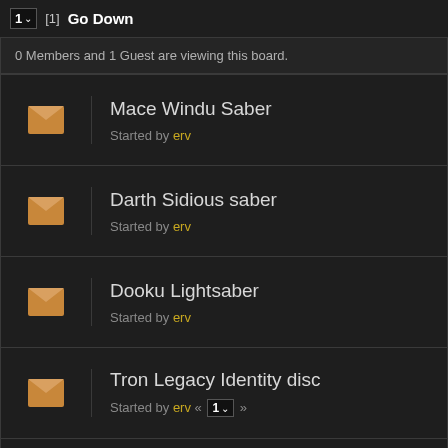1 [1] Go Down
0 Members and 1 Guest are viewing this board.
Mace Windu Saber — Started by erv
Darth Sidious saber — Started by erv
Dooku Lightsaber — Started by erv
Tron Legacy Identity disc — Started by erv « 1 »
Shadow Guard pike with CFv6